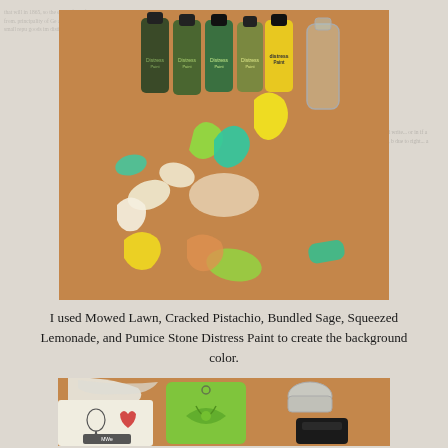[Figure (photo): Photo of several bottles of Distress Paint (Mowed Lawn, Cracked Pistachio, Bundled Sage, Squeezed Lemonade, Pumice Stone) arranged on a brown surface, with colorful paint prints of hands and abstract shapes in green, teal, yellow, and white spread across the surface. A clear empty bottle is visible on the right.]
I used Mowed Lawn, Cracked Pistachio, Bundled Sage, Squeezed Lemonade, and Pumice Stone Distress Paint to create the background color.
[Figure (photo): Photo of a craft project on a brown table showing a green painted tag with a leaf/flower design, a stamped booklet or card with a female figure stamp and heart stamp, a small container of ink/paint, a black ink pad, and a piece of torn white tissue paper. Various rubber stamps and craft supplies visible.]